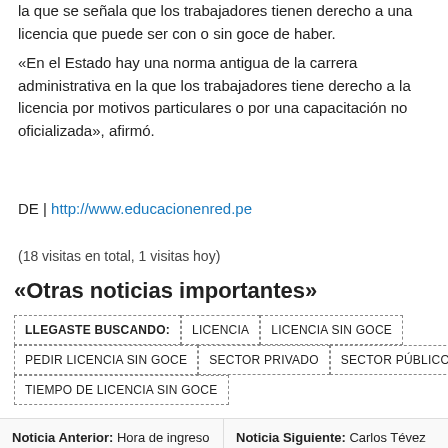la que se señala que los trabajadores tienen derecho a una licencia que puede ser con o sin goce de haber.
«En el Estado hay una norma antigua de la carrera administrativa en la que los trabajadores tiene derecho a la licencia por motivos particulares o por una capacitación no oficializada», afirmó.
DE | http://www.educacionenred.pe
(18 visitas en total, 1 visitas hoy)
«Otras noticias importantes»
LLEGASTE BUSCANDO: | LICENCIA | LICENCIA SIN GOCE | PEDIR LICENCIA SIN GOCE | SECTOR PRIVADO | SECTOR PÚBLICO | TIEMPO DE LICENCIA SIN GOCE
Noticia Anterior: Hora de ingreso al examen de Nombramiento
Noticia Siguiente: Carlos Tévez hizo llorar a su entrevistador